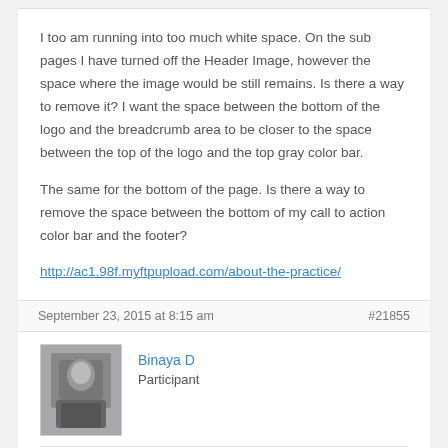I too am running into too much white space. On the sub pages I have turned off the Header Image, however the space where the image would be still remains. Is there a way to remove it? I want the space between the bottom of the logo and the breadcrumb area to be closer to the space between the top of the logo and the top gray color bar.
The same for the bottom of the page. Is there a way to remove the space between the bottom of my call to action color bar and the footer?
http://ac1.98f.myftpupload.com/about-the-practice/
September 23, 2015 at 8:15 am
#21855
Binaya D
Participant
Hi Deborah Smith,
For the first issue please use the following css to fix your issue: